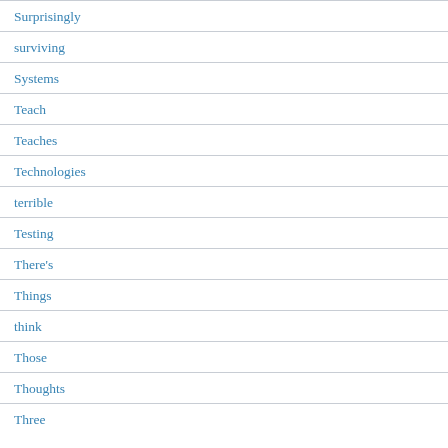Surprisingly
surviving
Systems
Teach
Teaches
Technologies
terrible
Testing
There's
Things
think
Those
Thoughts
Three